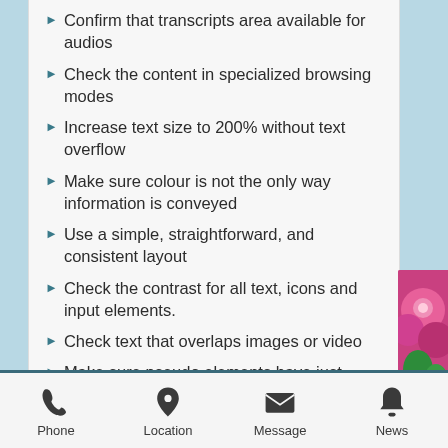Confirm that transcripts area available for audios
Check the content in specialized browsing modes
Increase text size to 200% without text overflow
Make sure colour is not the only way information is conveyed
Use a simple, straightforward, and consistent layout
Check the contrast for all text, icons and input elements.
Check text that overlaps images or video
Make sure pseudo elements have just decorative purpose
Check that the site can be rotated to any orientation
Prevent horizontal scrolling
Easily activate buttons and links
Phone  Location  Message  News